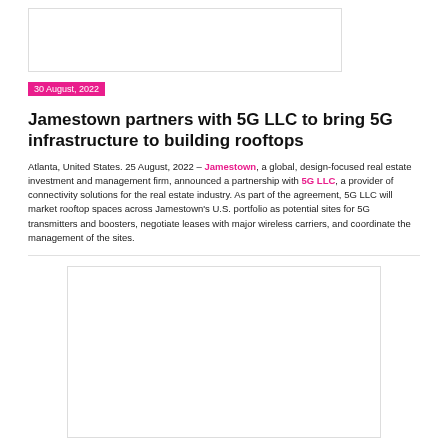[Figure (photo): Top image placeholder, white rectangle with border]
30 August, 2022
Jamestown partners with 5G LLC to bring 5G infrastructure to building rooftops
Atlanta, United States. 25 August, 2022 – Jamestown, a global, design-focused real estate investment and management firm, announced a partnership with 5G LLC, a provider of connectivity solutions for the real estate industry. As part of the agreement, 5G LLC will market rooftop spaces across Jamestown's U.S. portfolio as potential sites for 5G transmitters and boosters, negotiate leases with major wireless carriers, and coordinate the management of the sites.
[Figure (photo): Bottom image placeholder, white rectangle with border]